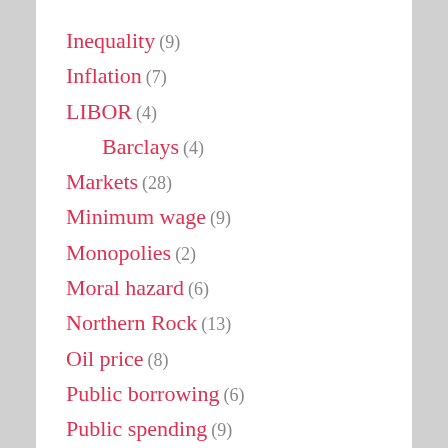Inequality (9)
Inflation (7)
LIBOR (4)
Barclays (4)
Markets (28)
Minimum wage (9)
Monopolies (2)
Moral hazard (6)
Northern Rock (13)
Oil price (8)
Public borrowing (6)
Public spending (9)
Regulation (31)